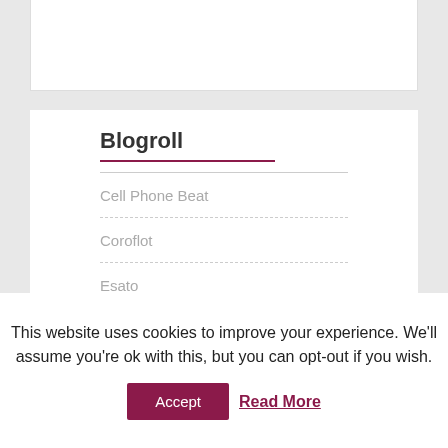Blogroll
Cell Phone Beat
Coroflot
Esato
Gadgetzone
This website uses cookies to improve your experience. We'll assume you're ok with this, but you can opt-out if you wish.
Accept   Read More